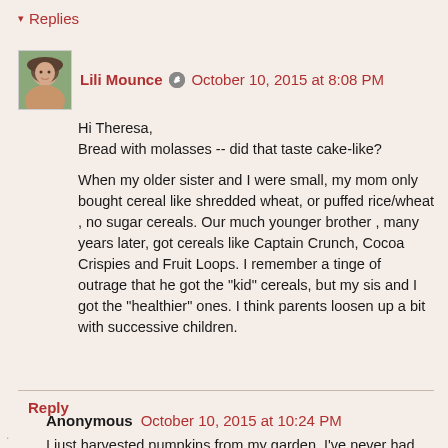▾ Replies
Lili Mounce ✎ October 10, 2015 at 8:08 PM
[Figure (photo): Avatar photo of Lili Mounce, a woman with dark hair]
Hi Theresa,
Bread with molasses -- did that taste cake-like?

When my older sister and I were small, my mom only bought cereal like shredded wheat, or puffed rice/wheat , no sugar cereals. Our much younger brother , many years later, got cereals like Captain Crunch, Cocoa Crispies and Fruit Loops. I remember a tinge of outrage that he got the "kid" cereals, but my sis and I got the "healthier" ones. I think parents loosen up a bit with successive children.
Reply
Anonymous October 10, 2015 at 10:24 PM
I just harvested pumpkins from my garden. I've never had